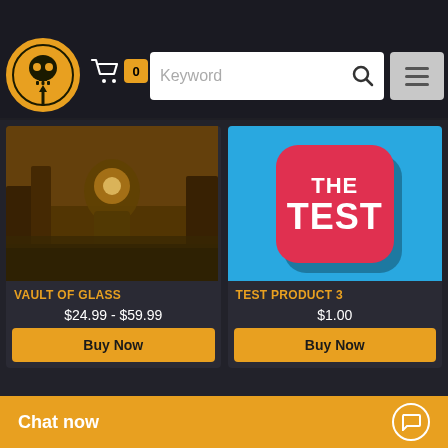Interested In
[Figure (screenshot): Website header bar with skull logo, cart with badge showing 0, keyword search input, and hamburger menu button]
[Figure (photo): Vault of Glass - game screenshot showing ruins with large mech/titan in golden hazy atmosphere]
VAULT OF GLASS
$24.99 - $59.99
[Figure (illustration): THE TEST app icon - red rounded square on blue background with white text THE TEST]
TEST PRODUCT 3
$1.00
Buy Now
Buy Now
[Figure (illustration): Partial view of another THE TEST app icon on blue background]
[Figure (illustration): Partial view of another THE TEST app icon on blue background]
Chat now